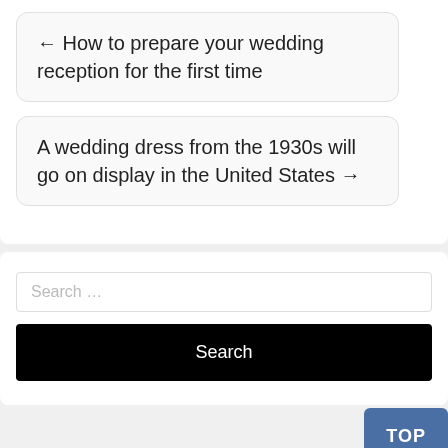← How to prepare your wedding reception for the first time
A wedding dress from the 1930s will go on display in the United States →
Search …
Search
TOP
Recent Posts